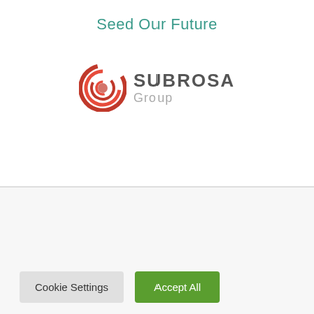Seed Our Future
[Figure (logo): Subrosa Group logo: red swirl icon with SUBROSA in bold dark text and Group in grey beneath]
Subrosa Group
Cookie Settings
Accept All